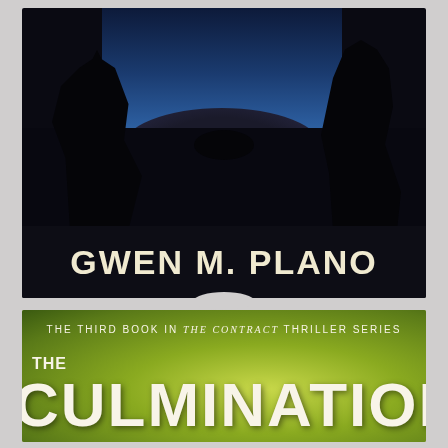[Figure (photo): Top book cover: dark image showing two silhouetted figures holding hands on rocks against a blue night sky. Author name 'GWEN M. PLANO' displayed in large white bold text on dark background at bottom of cover.]
[Figure (photo): Bottom book cover partial: green bokeh background with series text 'THE THIRD BOOK IN THE CONTRACT THRILLER SERIES' and large white bold title 'THE CULMINATION' partially visible.]